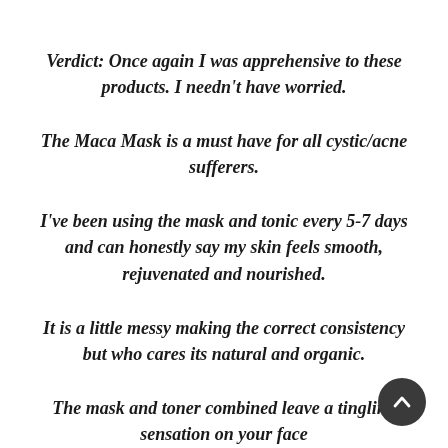Verdict: Once again I was apprehensive to these products. I needn't have worried.
The Maca Mask is a must have for all cystic/acne sufferers.
I've been using the mask and tonic every 5-7 days and can honestly say my skin feels smooth, rejuvenated and nourished.
It is a little messy making the correct consistency but who cares its natural and organic.
The mask and toner combined leave a tingling sensation on your face...